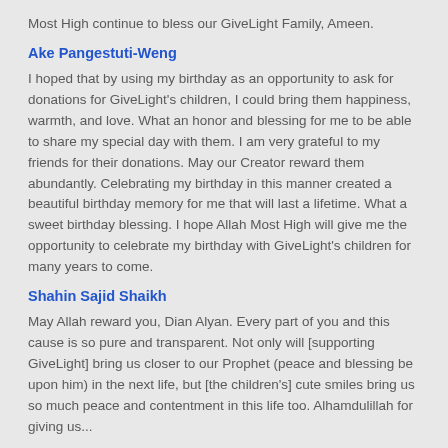Most High continue to bless our GiveLight Family, Ameen.
Ake Pangestuti-Weng
I hoped that by using my birthday as an opportunity to ask for donations for GiveLight's children, I could bring them happiness, warmth, and love. What an honor and blessing for me to be able to share my special day with them. I am very grateful to my friends for their donations. May our Creator reward them abundantly. Celebrating my birthday in this manner created a beautiful birthday memory for me that will last a lifetime. What a sweet birthday blessing. I hope Allah Most High will give me the opportunity to celebrate my birthday with GiveLight's children for many years to come.
Shahin Sajid Shaikh
May Allah reward you, Dian Alyan. Every part of you and this cause is so pure and transparent. Not only will [supporting GiveLight] bring us closer to our Prophet (peace and blessing be upon him) in the next life, but [the children's] cute smiles bring us so much peace and contentment in this life too. Alhamdulillah for giving us...